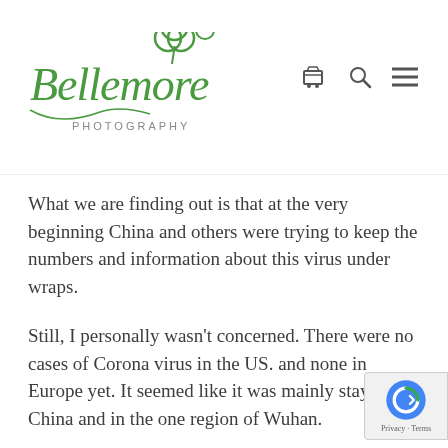[Figure (logo): Bellemore Photography logo — decorative script text 'Bellemore' with a shamrock/clover icon, and 'PHOTOGRAPHY' in small caps beneath]
What we are finding out is that at the very beginning China and others were trying to keep the numbers and information about this virus under wraps.
Still, I personally wasn't concerned. There were no cases of Corona virus in the US. and none in Europe yet. It seemed like it was mainly staying in China and in the one region of Wuhan.
We went about our daily lives as if nothing was wrong. Even when it started spreading South Korea and then to Italy. It was mostly people traveling from China that were